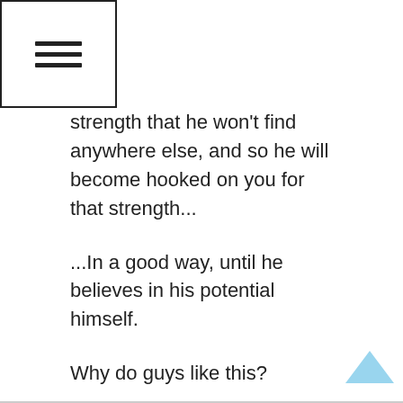☰ (hamburger menu icon)
strength that he won't find anywhere else, and so he will become hooked on you for that strength...
...In a good way, until he believes in his potential himself.
Why do guys like this?
Every guy secretly wants to be the champion of his own conquest. Think about it, how much do guys like sports, competition, etc? We all secretly want to be the heroes of our own adventure story, but we live in a society that says we can't.
Everyone is programmed to half ass their life. We live in society where people would rather watch TV about an epic adventure than go out and actually live one.